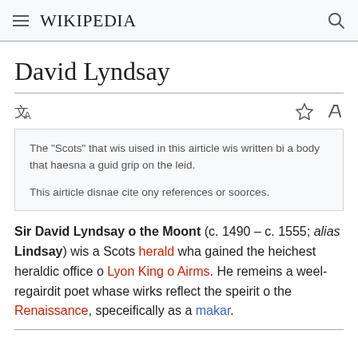Wikipedia
David Lyndsay
The "Scots" that wis uised in this airticle wis written bi a body that haesna a guid grip on the leid.

This airticle disnae cite ony references or soorces.
Sir David Lyndsay o the Moont (c. 1490 – c. 1555; alias Lindsay) wis a Scots herald wha gained the heichest heraldic office o Lyon King o Airms. He remeins a weel-regairdit poet whase wirks reflect the speirit o the Renaissance, speceifically as a makar.